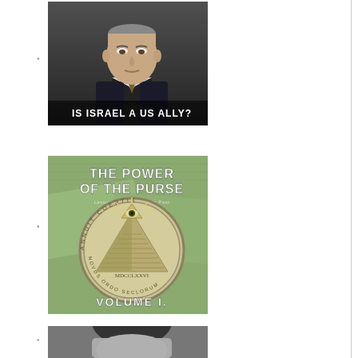[Figure (photo): Photo of an older man in a dark suit with a patterned tie, with text overlay at bottom reading 'IS ISRAEL A US ALLY?']
[Figure (illustration): Book cover: 'THE POWER OF THE PURSE' with subtitle text, featuring the Great Seal of the United States (pyramid with all-seeing eye), and 'VOLUME I.' at the bottom, on a green/dollar bill background]
[Figure (photo): Black and white portrait photo of a person, partially visible, cropped at bottom of page]